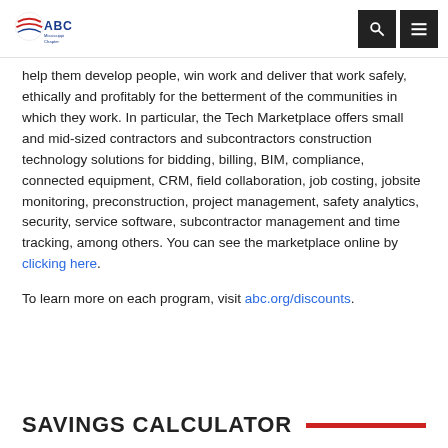ABC Mississippi Chapter
help them develop people, win work and deliver that work safely, ethically and profitably for the betterment of the communities in which they work. In particular, the Tech Marketplace offers small and mid-sized contractors and subcontractors construction technology solutions for bidding, billing, BIM, compliance, connected equipment, CRM, field collaboration, job costing, jobsite monitoring, preconstruction, project management, safety analytics, security, service software, subcontractor management and time tracking, among others. You can see the marketplace online by clicking here.
To learn more on each program, visit abc.org/discounts.
SAVINGS CALCULATOR